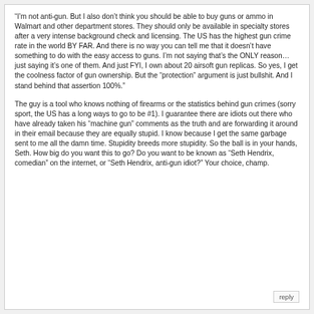“I’m not anti-gun. But I also don’t think you should be able to buy guns or ammo in Walmart and other department stores. They should only be available in specialty stores after a very intense background check and licensing. The US has the highest gun crime rate in the world BY FAR. And there is no way you can tell me that it doesn’t have something to do with the easy access to guns. I’m not saying that’s the ONLY reason… just saying it’s one of them. And just FYI, I own about 20 airsoft gun replicas. So yes, I get the coolness factor of gun ownership. But the “protection” argument is just bullshit. And I stand behind that assertion 100%.”
The guy is a tool who knows nothing of firearms or the statistics behind gun crimes (sorry sport, the US has a long ways to go to be #1). I guarantee there are idiots out there who have already taken his “machine gun” comments as the truth and are forwarding it around in their email because they are equally stupid. I know because I get the same garbage sent to me all the damn time. Stupidity breeds more stupidity. So the ball is in your hands, Seth. How big do you want this to go? Do you want to be known as “Seth Hendrix, comedian” on the internet, or “Seth Hendrix, anti-gun idiot?” Your choice, champ.